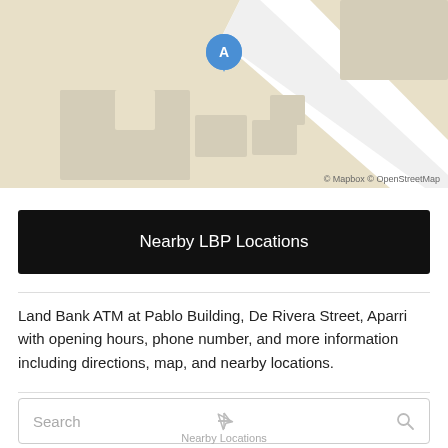[Figure (map): Map showing location marker 'A' (blue pin) on a street map near Pablo Building, De Rivera Street, Aparri. Map tiles from Mapbox and OpenStreetMap. Attribution: © Mapbox © OpenStreetMap.]
Nearby LBP Locations
Land Bank ATM at Pablo Building, De Rivera Street, Aparri with opening hours, phone number, and more information including directions, map, and nearby locations.
Search  Nearby Locations